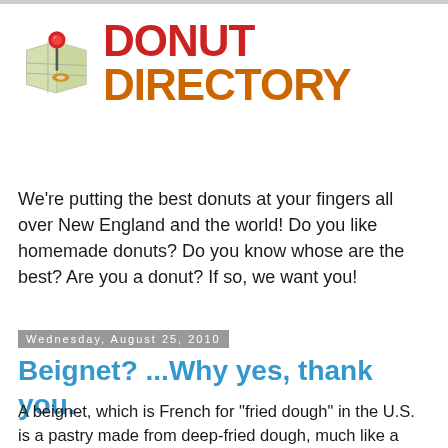[Figure (logo): Donut Directory logo with a map pin icon on a folded map on the left, and the text 'DONUT DIRECTORY' in red and orange bold letters on the right]
We're putting the best donuts at your fingers all over New England and the world! Do you like homemade donuts? Do you know whose are the best? Are you a donut? If so, we want you!
Wednesday, August 25, 2010
Beignet? ...Why yes, thank you.
A beignet, which is French for "fried dough" in the U.S. is a pastry made from deep-fried dough, much like a doughnut,